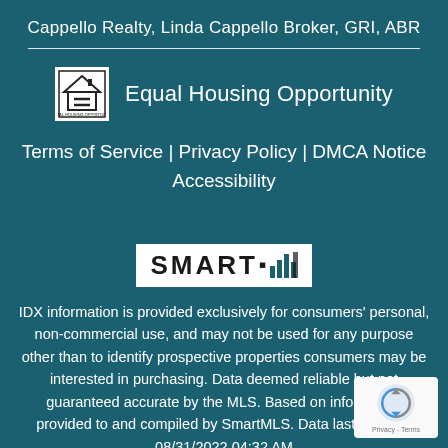Cappello Realty, Linda Cappello Broker, GRI, ABR
[Figure (logo): Equal Housing Opportunity logo — house with equal sign inside a square border]
Equal Housing Opportunity
Terms of Service | Privacy Policy | DMCA Notice
Accessibility
[Figure (logo): SmartMLS logo with bar chart icon on white background]
IDX information is provided exclusively for consumers' personal, non-commercial use, and may not be used for any purpose other than to identify prospective properties consumers may be interested in purchasing. Data deemed reliable but not guaranteed accurate by the MLS. Based on information provided to and compiled by SmartMLS. Data last updated 08/31/2022 04:32 AM
[Figure (logo): reCAPTCHA badge with Privacy and Terms links]